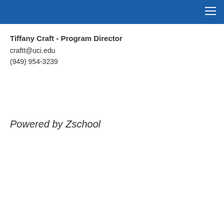Tiffany Craft - Program Director
craftt@uci.edu
(949) 954-3239
Powered by Zschool